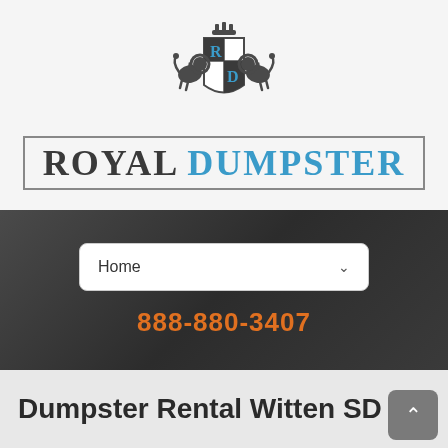[Figure (logo): Royal Dumpster logo with heraldic crest featuring two lions flanking a shield with R and D letters, crown on top, and 'ROYAL DUMPSTER' text below in a bordered frame]
Home
888-880-3407
Dumpster Rental Witten SD